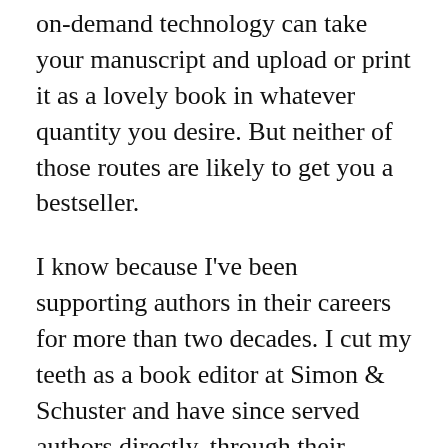on-demand technology can take your manuscript and upload or print it as a lovely book in whatever quantity you desire. But neither of those routes are likely to get you a bestseller.
I know because I've been supporting authors in their careers for more than two decades. I cut my teeth as a book editor at Simon & Schuster and have since served authors directly, through their agents, and through large and small publishing houses with a variety of services.